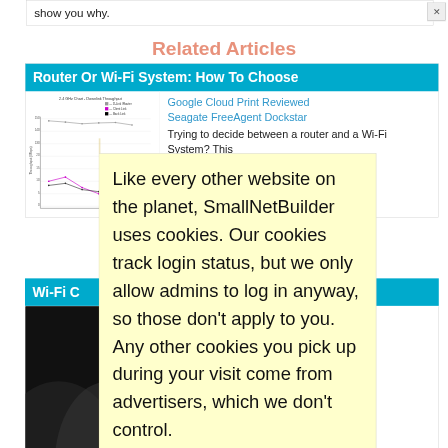show you why.
Related Articles
Router Or Wi-Fi System: How To Choose
[Figure (line-chart): 2.4 GHz chart showing multiple line series over time, labeled with throughput rates]
Trying to decide between a router and a Wi-Fi System? This
Google Cloud Print Reviewed
Seagate FreeAgent Dockstar
D-Link storage
ual-
abit
Wi-Fi C
Like every other website on the planet, SmallNetBuilder uses cookies. Our cookies track login status, but we only allow admins to log in anyway, so those don't apply to you. Any other cookies you pick up during your visit come from advertisers, which we don't control.
If you continue to use the site, you agree to tolerate our use of cookies. Thank you!